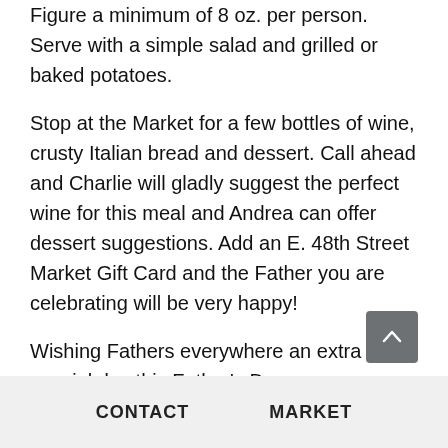Figure a minimum of 8 oz. per person. Serve with a simple salad and grilled or baked potatoes.
Stop at the Market for a few bottles of wine, crusty Italian bread and dessert. Call ahead and Charlie will gladly suggest the perfect wine for this meal and Andrea can offer dessert suggestions. Add an E. 48th Street Market Gift Card and the Father you are celebrating will be very happy!
Wishing Fathers everywhere an extra special day this Father's Day.
CONTACT   MARKET